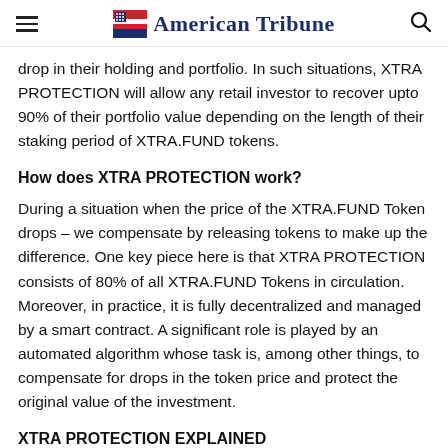American Tribune
drop in their holding and portfolio. In such situations, XTRA PROTECTION will allow any retail investor to recover upto 90% of their portfolio value depending on the length of their staking period of XTRA.FUND tokens.
How does XTRA PROTECTION work?
During a situation when the price of the XTRA.FUND Token drops – we compensate by releasing tokens to make up the difference. One key piece here is that XTRA PROTECTION consists of 80% of all XTRA.FUND Tokens in circulation. Moreover, in practice, it is fully decentralized and managed by a smart contract. A significant role is played by an automated algorithm whose task is, among other things, to compensate for drops in the token price and protect the original value of the investment.
XTRA PROTECTION EXPLAINED